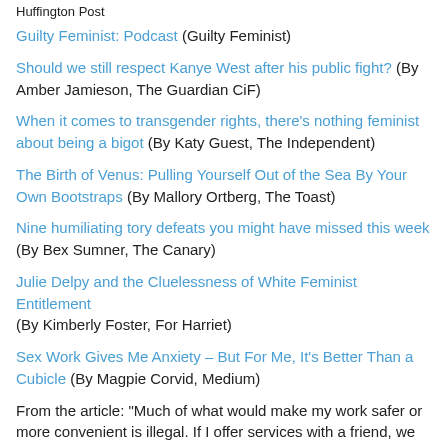Huffington Post
Guilty Feminist: Podcast (Guilty Feminist)
Should we still respect Kanye West after his public fight? (By Amber Jamieson, The Guardian CiF)
When it comes to transgender rights, there's nothing feminist about being a bigot (By Katy Guest, The Independent)
The Birth of Venus: Pulling Yourself Out of the Sea By Your Own Bootstraps (By Mallory Ortberg, The Toast)
Nine humiliating tory defeats you might have missed this week (By Bex Sumner, The Canary)
Julie Delpy and the Cluelessness of White Feminist Entitlement (By Kimberly Foster, For Harriet)
Sex Work Gives Me Anxiety – But For Me, It's Better Than a Cubicle (By Magpie Corvid, Medium)
From the article: "Much of what would make my work safer or more convenient is illegal. If I offer services with a friend, we